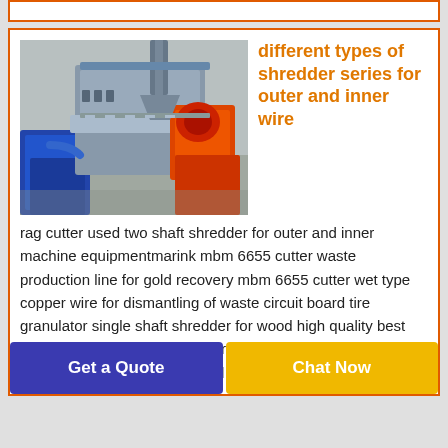[Figure (photo): Photo of industrial shredder machine equipment with blue and orange components]
different types of shredder series for outer and inner wire
rag cutter used two shaft shredder for outer and inner machine equipmentmarink mbm 6655 cutter waste production line for gold recovery mbm 6655 cutter wet type copper wire for dismantling of waste circuit board tire granulator single shaft shredder for wood high quality best selling srq2000 scrap radiator recycling for outer and inner wi equipment company paper mill
Get a Quote
Chat Now